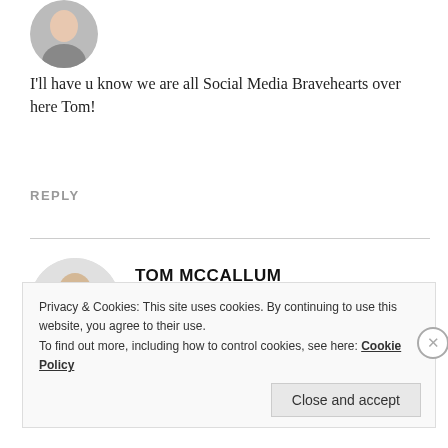[Figure (photo): Circular avatar photo of a person (partial, cropped at top)]
I'll have u know we are all Social Media Bravehearts over here Tom!
REPLY
[Figure (photo): Circular avatar photo of Tom McCallum, a man in a black jacket]
TOM MCCALLUM
April 20, 2010 at 7:20 pm
Intae the volcano for you too then :)
Privacy & Cookies: This site uses cookies. By continuing to use this website, you agree to their use. To find out more, including how to control cookies, see here: Cookie Policy
Close and accept